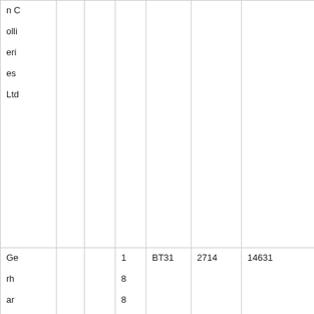| n Collieries Ltd |  |  |  |  |  |  |
| Gerhardine Colliery Co. Ltd |  |  | 1880 | BT31 | 2714 | 14631 |
| Gi... | C | G | 1... | BT31 | 21610 | 130218 |